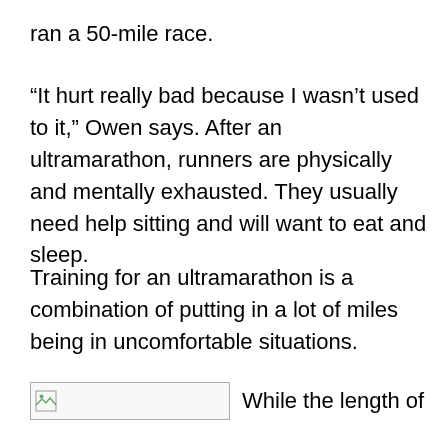ran a 50-mile race.
“It hurt really bad because I wasn’t used to it,” Owen says. After an ultramarathon, runners are physically and mentally exhausted. They usually need help sitting and will want to eat and sleep.
Training for an ultramarathon is a combination of putting in a lot of miles being in uncomfortable situations.
[Figure (other): Broken image placeholder (image failed to load), followed by partial text 'While the length of']
While the length of